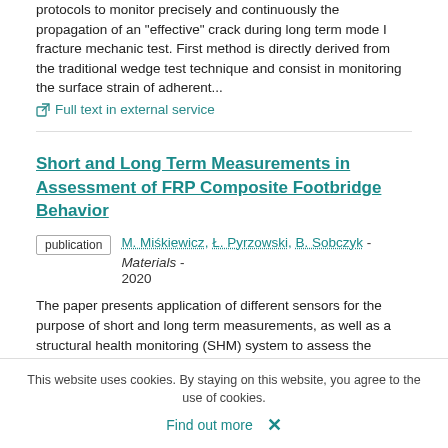protocols to monitor precisely and continuously the propagation of an "effective" crack during long term mode I fracture mechanic test. First method is directly derived from the traditional wedge test technique and consist in monitoring the surface strain of adherent...
Full text in external service
Short and Long Term Measurements in Assessment of FRP Composite Footbridge Behavior
publication M. Miśkiewicz, Ł. Pyrzowski, B. Sobczyk - Materials - 2020
The paper presents application of different sensors for the purpose of short and long term measurements, as well as a structural health monitoring (SHM) system to assess the behavior of a novel fiber reinforced plastics (FRP) composite footbridge. The aim is to present a thorough and concise description of these sensors networks and results gathered with their aid during in situ measurement of strains,
This website uses cookies. By staying on this website, you agree to the use of cookies.
Find out more